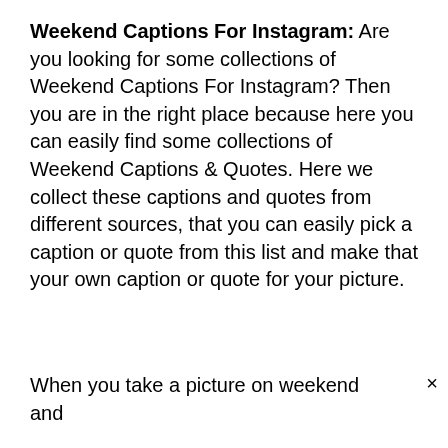Weekend Captions For Instagram: Are you looking for some collections of Weekend Captions For Instagram? Then you are in the right place because here you can easily find some collections of Weekend Captions & Quotes. Here we collect these captions and quotes from different sources, that you can easily pick a caption or quote from this list and make that your own caption or quote for your picture.
When you take a picture on weekend and